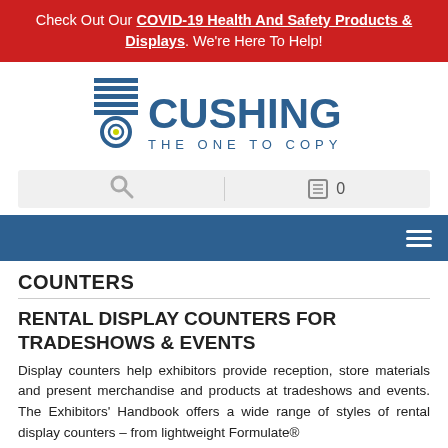Check Out Our COVID-19 Health And Safety Products & Displays. We're Here To Help!
[Figure (logo): Cushing - The One To Copy logo with blue stacked lines icon and circular target element]
[Figure (screenshot): Search bar with magnifying glass icon, vertical divider, list/cart icon, and number 0]
[Figure (screenshot): Dark blue navigation bar with hamburger menu icon (three horizontal lines) on the right]
COUNTERS
RENTAL DISPLAY COUNTERS FOR TRADESHOWS & EVENTS
Display counters help exhibitors provide reception, store materials and present merchandise and products at tradeshows and events. The Exhibitors' Handbook offers a wide range of styles of rental display counters – from lightweight Formulate®